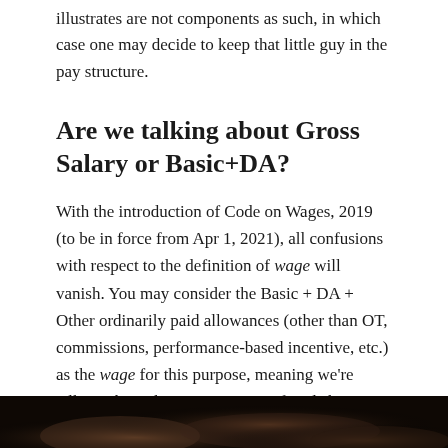illustrates are not components as such, in which case one may decide to keep that little guy in the pay structure.
Are we talking about Gross Salary or Basic+DA?
With the introduction of Code on Wages, 2019 (to be in force from Apr 1, 2021), all confusions with respect to the definition of wage will vanish. You may consider the Basic + DA + Other ordinarily paid allowances (other than OT, commissions, performance-based incentive, etc.) as the wage for this purpose, meaning we're talking about the Gross Pay. Confused about Gross Pay, CTC, etc.? I'll write about it in my next article 😉
[Figure (photo): Dark image of hands, partially visible at the bottom of the page]